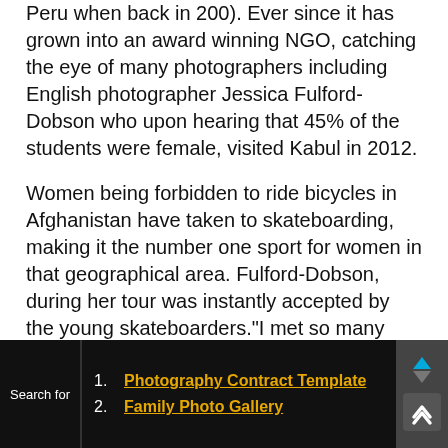Peru when back in 200). Ever since it has grown into an award winning NGO, catching the eye of many photographers including English photographer Jessica Fulford-Dobson who upon hearing that 45% of the students were female, visited Kabul in 2012.
Women being forbidden to ride bicycles in Afghanistan have taken to skateboarding, making it the number one sport for women in that geographical area. Fulford-Dobson, during her tour was instantly accepted by the young skateboarders."I met so many impressive women and girls in Afghanistan: a teacher as tough and determined as any man; young Afghans in their early twenties who were volunteering at an orphanage and were passionate about being seen as strong and willing to fight for themselves, rather than as
Search for
1. Photography Contract Template
2. Family Photo Gallery